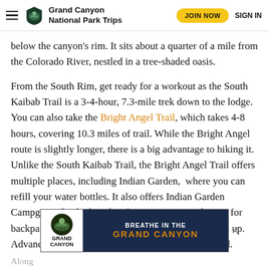Grand Canyon National Park Trips | JOIN NOW | SIGN IN
below the canyon's rim. It sits about a quarter of a mile from the Colorado River, nestled in a tree-shaded oasis.
From the South Rim, get ready for a workout as the South Kaibab Trail is a 3-4-hour, 7.3-mile trek down to the lodge. You can also take the Bright Angel Trail, which takes 4-8 hours, covering 10.3 miles of trail. While the Bright Angel route is slightly longer, there is a big advantage to hiking it. Unlike the South Kaibab Trail, the Bright Angel Trail offers multiple places, including Indian Garden,  where you can refill your water bottles. It also offers Indian Garden Campground, which makes for a great overnight stay for backpackers going down to Phantom Ranch and back up. Advanced reservations by a permit system is required.
[Figure (screenshot): Advertisement banner for Grand Canyon: 'BREATHE IN THE GRAND CANYON' with Grand Canyon logo on left side and close button]
Along